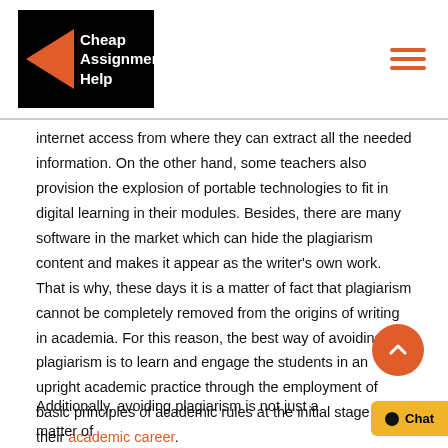Cheap Assignment Help
internet access from where they can extract all the needed information. On the other hand, some teachers also provision the explosion of portable technologies to fit in digital learning in their modules. Besides, there are many software in the market which can hide the plagiarism content and makes it appear as the writer’s own work. That is why, these days it is a matter of fact that plagiarism cannot be completely removed from the origins of writing in academia. For this reason, the best way of avoiding plagiarism is to learn and engage the students in an upright academic practice through the employment of basic principles of academic rules at the initial stage of their academic career.
Additionally, avoiding plagiarism is not just a matter of